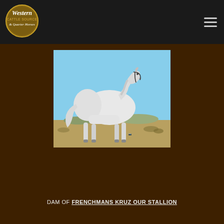[Figure (logo): Western Cattle Source & Quarter Horses oval logo with decorative script text on dark background]
[Figure (photo): White/grey quarter horse stallion standing in profile in an open field with blue sky background]
DAM OF FRENCHMANS KRUZ OUR STALLION